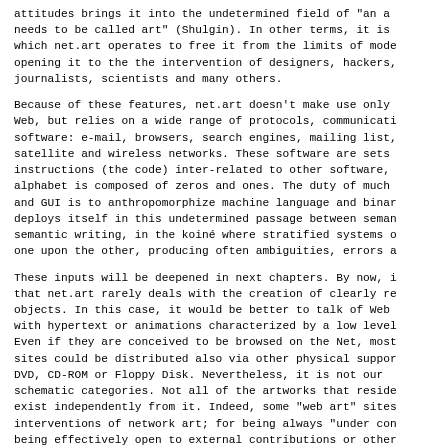attitudes brings it into the undetermined field of "an a needs to be called art" (Shulgin). In other terms, it is which net.art operates to free it from the limits of mode opening it to the the intervention of designers, hackers, journalists, scientists and many others.

Because of these features, net.art doesn't make use only Web, but relies on a wide range of protocols, communicati software: e-mail, browsers, search engines, mailing list, satellite and wireless networks. These software are sets instructions (the code) inter-related to other software, alphabet is composed of zeros and ones. The duty of much and GUI is to anthropomorphize machine language and binar deploys itself in this undetermined passage between seman semantic writing, in the koiné where stratified systems o one upon the other, producing often ambiguities, errors a

These inputs will be deepened in next chapters. By now, i that net.art rarely deals with the creation of clearly re objects. In this case, it would be better to talk of Web with hypertext or animations characterized by a low level Even if they are conceived to be browsed on the Net, most sites could be distributed also via other physical suppor DVD, CD-ROM or Floppy Disk. Nevertheless, it is not our schematic categories. Not all of the artworks that reside exist independently from it. Indeed, some "web art" sites interventions of network art; for being always "under con being effectively open to external contributions or othe because they reflect conceptually on their own medium.
        Because of this, net.art does not have to be re